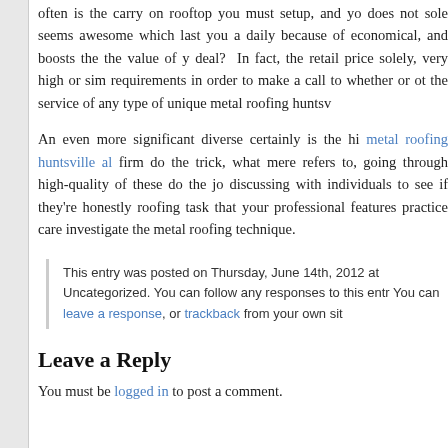often is the carry on rooftop you must setup, and yo does not sole seems awesome which last you a daily because of economical, and boosts the the value of y deal? In fact, the retail price solely, very high or sim requirements in order to make a call to whether or ot the service of any type of unique metal roofing huntsv
An even more significant diverse certainly is the h metal roofing huntsville al firm do the trick, what mere refers to, going through high-quality of these do the j discussing with individuals to see if they're honest roofing task that your professional features practice care investigate the metal roofing technique.
This entry was posted on Thursday, June 14th, 2012 at Uncategorized. You can follow any responses to this entr You can leave a response, or trackback from your own sit
Leave a Reply
You must be logged in to post a comment.